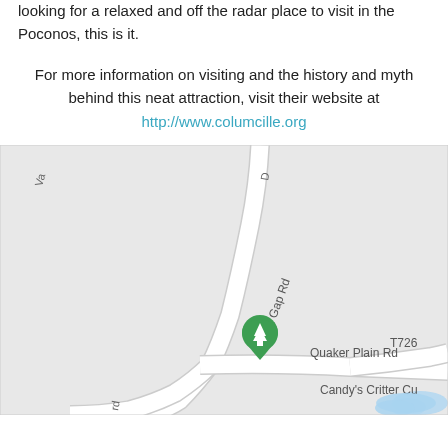looking for a relaxed and off the radar place to visit in the Poconos, this is it.
For more information on visiting and the history and myth behind this neat attraction, visit their website at http://www.columcille.org
[Figure (map): Google Maps screenshot showing Quaker Plain Rd, Fox Gap Rd, T726, and Candy's Critter Cu label, with a green location pin marker in the center of the map on a light gray background.]